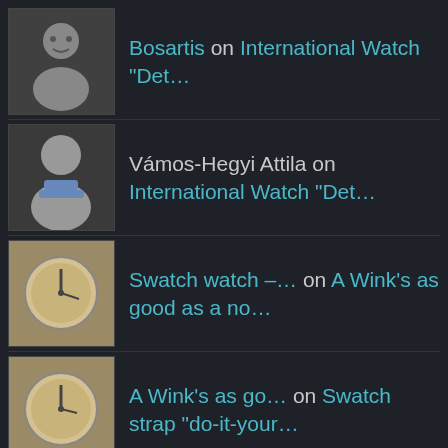Bosartis on International Watch “Det…
Vámos-Hegyi Attila on International Watch “Det…
Swatch watch –… on A Wink’s as good as a no…
A Wink’s as go… on Swatch strap “do-it-your…
Bosartis on Best value Diver?
robbielroy on Best value Diver?
Bosartis on Best value Diver?
robbielroy on Best value Diver?
Bosartis on Seiko AGS vintage